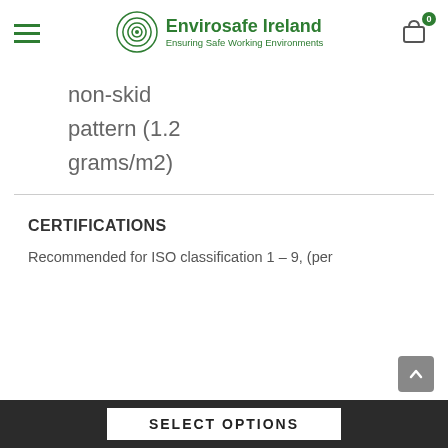Envirosafe Ireland — Ensuring Safe Working Environments
non-skid pattern (1.2 grams/m2)
CERTIFICATIONS
Recommended for ISO classification 1 – 9, (per
SELECT OPTIONS